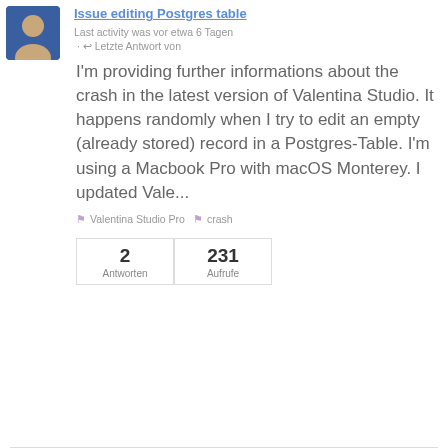[Figure (photo): User avatar: blue background with a person icon]
Issue editing Postgres table
Last activity was vor etwa 6 Tagen
· ↩ Letzte Antwort von
I'm providing further informations about the crash in the latest version of Valentina Studio. It happens randomly when I try to edit an empty (already stored) record in a Postgres-Table. I'm using a Macbook Pro with macOS Monterey. I updated Vale...
Valentina Studio Pro   crash
2 Antworten
231 Aufrufe